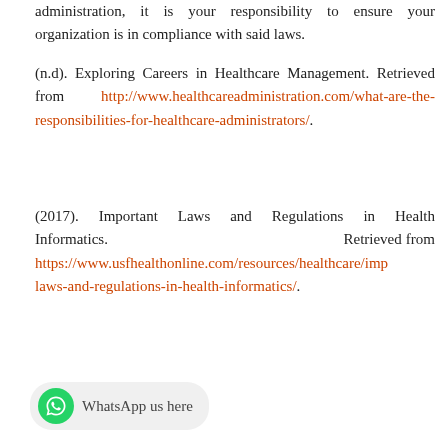administration, it is your responsibility to ensure your organization is in compliance with said laws.
(n.d). Exploring Careers in Healthcare Management. Retrieved from http://www.healthcareadministration.com/what-are-the-responsibilities-for-healthcare-administrators/.
(2017). Important Laws and Regulations in Health Informatics. Retrieved from https://www.usfhealthonline.com/resources/healthcare/important-laws-and-regulations-in-health-informatics/.
[Figure (other): WhatsApp contact button with green WhatsApp logo icon and text 'WhatsApp us here' on a light grey rounded pill background]